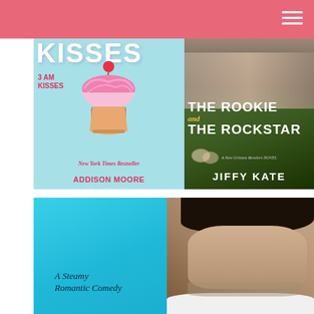[Figure (photo): Book cover: '3 AM Kisses' by Addison Moore, New York Times Bestseller. Teal/cyan background with a pink cupcake topped with a cherry. Large white text 'KISSES' at top, pink text '3 AM KISSES' on left, pink italic text 'New York Times Bestseller', bold pink text 'ADDISON MOORE' at bottom.]
[Figure (photo): Book cover: 'The Rookie and The Rockstar' by Jiffy Kate, A New Orleans Revelers Novel. Dark green/brown background with a couple embracing at top. White bold text 'THE ROOKIE' and 'THE ROCKSTAR' with yellow italic 'and'. White bold author name 'JIFFY KATE' at bottom.]
[Figure (photo): Book cover partial: A blue/cyan background with text 'A Steamy Romantic Comedy' in dark italic text, and a handsome dark-haired man on the right side of the cover.]